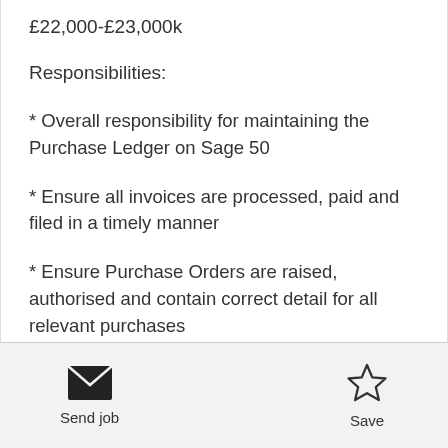£22,000-£23,000k
Responsibilities:
* Overall responsibility for maintaining the Purchase Ledger on Sage 50
* Ensure all invoices are processed, paid and filed in a timely manner
* Ensure Purchase Orders are raised, authorised and contain correct detail for all relevant purchases
Send job
Save